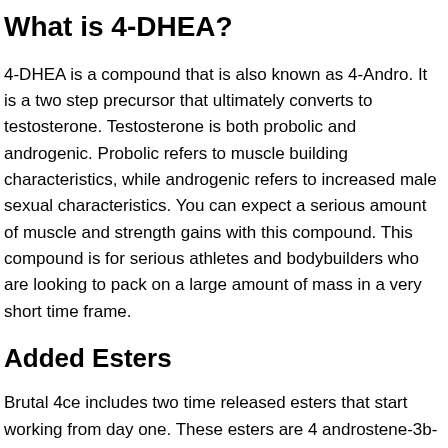What is 4-DHEA?
4-DHEA is a compound that is also known as 4-Andro. It is a two step precursor that ultimately converts to testosterone. Testosterone is both probolic and androgenic. Probolic refers to muscle building characteristics, while androgenic refers to increased male sexual characteristics. You can expect a serious amount of muscle and strength gains with this compound. This compound is for serious athletes and bodybuilders who are looking to pack on a large amount of mass in a very short time frame.
Added Esters
Brutal 4ce includes two time released esters that start working from day one. These esters are 4 androstene-3b-ol, 17-one undecanoate and 4 androstene-3b-ol, 17-one Caprylate. Esters are added to the molecule to control its release, which eliminates the need to be